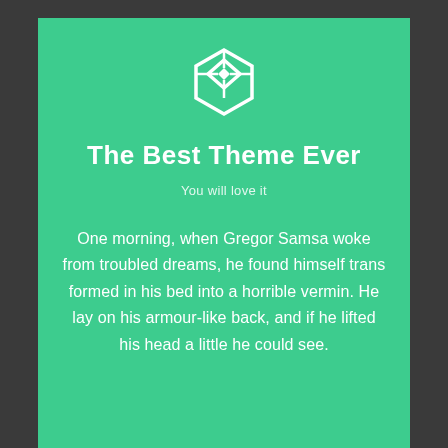[Figure (logo): White hexagon/diamond geometric logo icon in the center top of green card]
The Best Theme Ever
You will love it
One morning, when Gregor Samsa woke from troubled dreams, he found himself trans formed in his bed into a horrible vermin. He lay on his armour-like back, and if he lifted his head a little he could see.